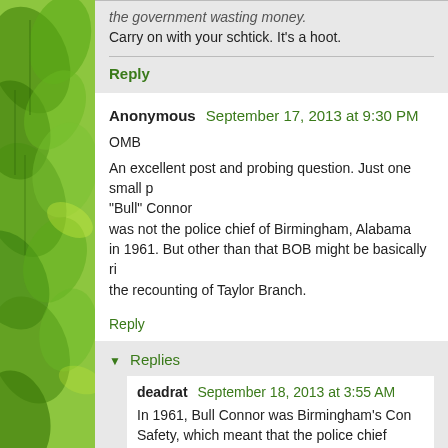the government wasting money. Carry on with your schtick. It's a hoot.
Reply
Anonymous  September 17, 2013 at 9:30 PM
OMB
An excellent post and probing question. Just one small point — "Bull" Connor was not the police chief of Birmingham, Alabama in 1961. But other than that BOB might be basically right per the recounting of Taylor Branch.
Reply
Replies
deadrat  September 18, 2013 at 3:55 AM
In 1961, Bull Connor was Birmingham's Commissioner of Public Safety, which meant that the police chief reported to him.